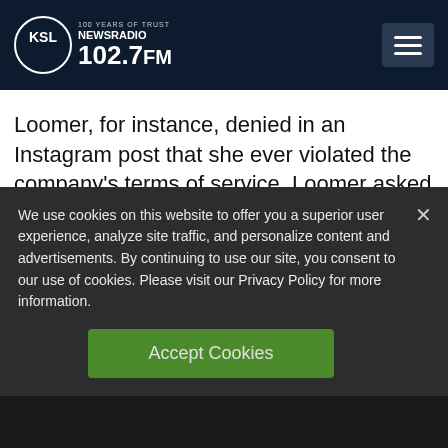[Figure (logo): KSL NewsRadio 102.7FM logo with circle emblem on dark navy header bar]
Loomer, for instance, denied in an Instagram post that she ever violated the company’s terms of service. Loomer asked people to follow her on an different platform, adding, “Looks like you guys will probably never hear
We use cookies on this website to offer you a superior user experience, analyze site traffic, and personalize content and advertisements. By continuing to use our site, you consent to our use of cookies. Please visit our Privacy Policy for more information.